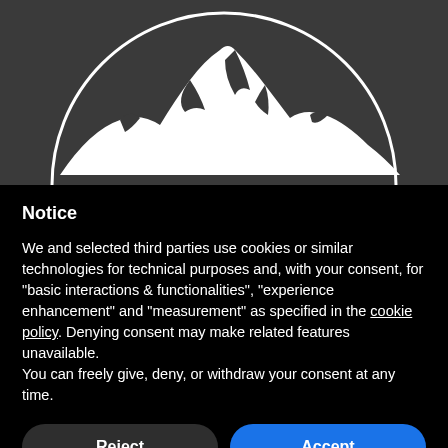[Figure (logo): White mountain/peak logo silhouette inside a circular outline on a dark grey background]
Notice
We and selected third parties use cookies or similar technologies for technical purposes and, with your consent, for "basic interactions & functionalities", "experience enhancement" and "measurement" as specified in the cookie policy. Denying consent may make related features unavailable.
You can freely give, deny, or withdraw your consent at any time.
Reject
Accept
Learn more and customize